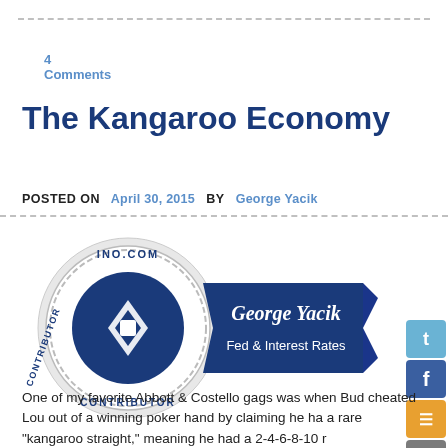4 Comments
The Kangaroo Economy
POSTED ON  April 30, 2015  BY  George Yacik
[Figure (illustration): INO.COM contributor badge with George Yacik, Fed & Interest Rates]
One of my favorite Abbott & Costello gags was when Bud cheated Lou out of a winning poker hand by claiming he had a rare "kangaroo straight," meaning he had a 2-4-6-8-10 r...